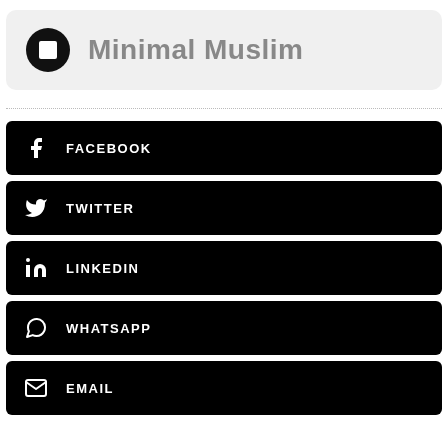[Figure (logo): Minimal Muslim brand header with circular logo and brand name]
FACEBOOK
TWITTER
LINKEDIN
WHATSAPP
EMAIL